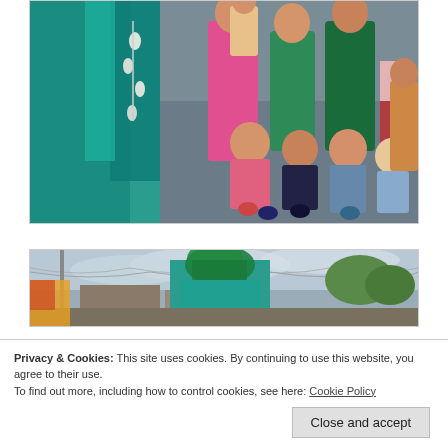[Figure (photo): A performer in an elaborate teal/turquoise costume with blue hair and dangling shell decorations stands among a crowd. Children crouch and smile in the foreground; adults stand behind. Outdoor street scene.]
[Figure (photo): Outdoor street festival scene with a large teal/green costumed figure with decorative green hair visible against a cloudy sky. Buildings and trees in background, bunting strung above.]
[Figure (photo): Partial view of a teal-costumed performer at an outdoor festival, partially cut off at bottom of page.]
Privacy & Cookies: This site uses cookies. By continuing to use this website, you agree to their use.
To find out more, including how to control cookies, see here: Cookie Policy
Close and accept